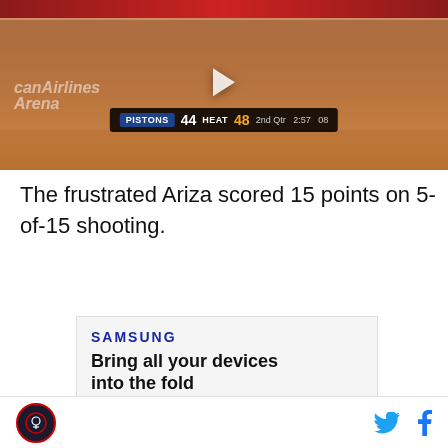[Figure (screenshot): Basketball game screenshot showing Pistons vs Heat scoreboard. Pistons 44, Heat 48, 2nd Quarter, 2:57, 08]
The frustrated Ariza scored 15 points on 5-of-15 shooting.
[Figure (photo): Samsung Galaxy Z Fold4 advertisement. Text: SAMSUNG, Bring all your devices into the fold, LEARN MORE, Galaxy Z Fold4]
Site logo and social media icons (Twitter, Facebook)